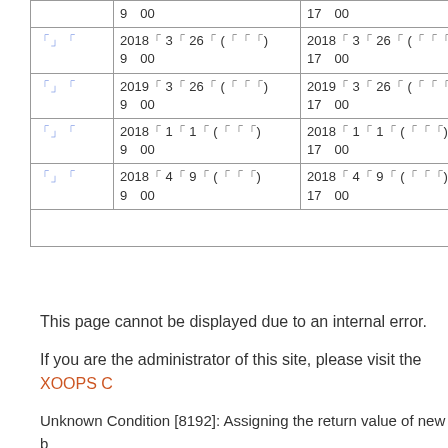|  | Start | End |
| --- | --- | --- |
|  | 9　00　 | 17　00　 |
| 「」「 | 2018「 3「 26「 (「「「)
9　00　 | 2018「 3「 26「 (「「「)
17　00　 |
| 「」「 | 2019「 3「 26「 (「「「)
9　00　 | 2019「 3「 26「 (「「「)
17　00　 |
| 「」「 | 2018「 1「 1「 (「「「)
9　00　 | 2018「 1「 1「 (「「「)
17　00　 |
| 「」「 | 2018「 4「 9「 (「「「)
9　00　 | 2018「 4「 9「 (「「「)
17　00　 |
|  |  |  |
This page cannot be displayed due to an internal error.
If you are the administrator of this site, please visit the XOOPS C
Unknown Condition [8192]: Assigning the return value of new b modules/legacy/preload/InstallerChecker.class.php line 32
Unknown Condition [8192]: Assigning the return value of new b modules/legacy/preload/ThemeSelect.class.php line 32
Unknown Condition [8192]: Assigning the return value of new b